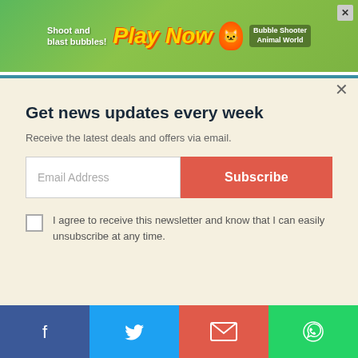[Figure (screenshot): Ad banner: green background with 'Shoot and blast bubbles! Play Now' text and Bubble Shooter Animal World game graphic]
Get news updates every week
Receive the latest deals and offers via email.
Email Address | Subscribe
I agree to receive this newsletter and know that I can easily unsubscribe at any time.
[Figure (infographic): Social share bar with Facebook, Twitter, Email, and WhatsApp buttons]